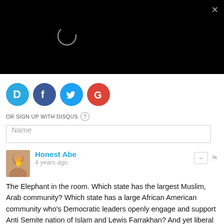[Figure (screenshot): Black video player area with a loading spinner circle and a close (×) button in the top-right corner]
[Figure (screenshot): Social login icons: Disqus (blue D), Facebook (blue F), Twitter (blue bird), Google (red G)]
OR SIGN UP WITH DISQUS ?
Name
Honest Abe
4 years ago
The Elephant in the room. Which state has the largest Muslim, Arab community? Which state has a large African American community who's Democratic leaders openly engage and support Anti Semite nation of Islam and Lewis Farrakhan? And yet liberal Jews keep attacking Trump!